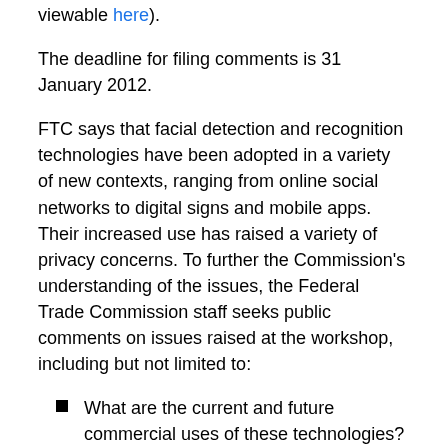viewable here).
The deadline for filing comments is 31 January 2012.
FTC says that facial detection and recognition technologies have been adopted in a variety of new contexts, ranging from online social networks to digital signs and mobile apps. Their increased use has raised a variety of privacy concerns. To further the Commission's understanding of the issues, the Federal Trade Commission staff seeks public comments on issues raised at the workshop, including but not limited to:
What are the current and future commercial uses of these technologies?
How can consumers benefit from the use of these technologies?
What are the privacy and security concerns